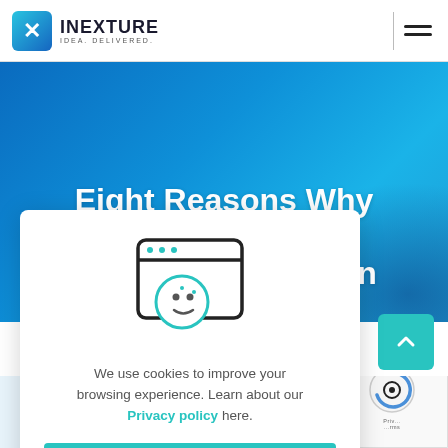[Figure (logo): Inexture logo with blue X icon and text INEXTURE IDEA. DELIVERED.]
Eight Reasons Why Startups Need to Hire Python
[Figure (illustration): Cookie consent modal with browser/folder icon and cookie icon, text about cookies and privacy policy, and UNDERSTOOD. YUM! button]
We use cookies to improve your browsing experience. Learn about our Privacy policy here.
[Figure (screenshot): Partial bottom area showing .hon (Python) text and small thumbnail images]